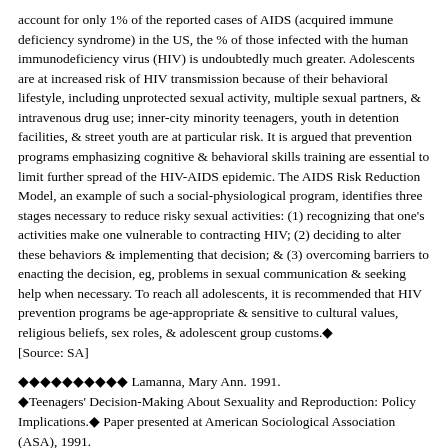account for only 1% of the reported cases of AIDS (acquired immune deficiency syndrome) in the US, the % of those infected with the human immunodeficiency virus (HIV) is undoubtedly much greater. Adolescents are at increased risk of HIV transmission because of their behavioral lifestyle, including unprotected sexual activity, multiple sexual partners, & intravenous drug use; inner-city minority teenagers, youth in detention facilities, & street youth are at particular risk. It is argued that prevention programs emphasizing cognitive & behavioral skills training are essential to limit further spread of the HIV-AIDS epidemic. The AIDS Risk Reduction Model, an example of such a social-physiological program, identifies three stages necessary to reduce risky sexual activities: (1) recognizing that one's activities make one vulnerable to contracting HIV; (2) deciding to alter these behaviors & implementing that decision; & (3) overcoming barriers to enacting the decision, eg, problems in sexual communication & seeking help when necessary. To reach all adolescents, it is recommended that HIV prevention programs be age-appropriate & sensitive to cultural values, religious beliefs, sex roles, & adolescent group customs.◆ [Source: SA]
◆◆◆◆◆◆◆◆◆◆ Lamanna, Mary Ann. 1991. ◆Teenagers' Decision-Making About Sexuality and Reproduction: Policy Implications.◆ Paper presented at American Sociological Association (ASA), 1991. ◆◆◆◆◆◆◆◆◆◆ Abstract: Data from 225 focus group participants & semistructured interviews with 64 teenage women (white/black; ever-pregnant vs never-pregnant) provide information on teen women's sexual & reproductive decision making in a midwestern US city. Typical decision sequences are identifiable. Young women in the pair bonding model make an